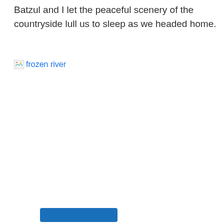Batzul and I let the peaceful scenery of the countryside lull us to sleep as we headed home.
[Figure (other): Broken image placeholder link labeled 'frozen river' shown as a blue hyperlink with a small broken image icon]